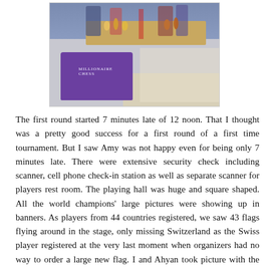[Figure (photo): Photo of a chess tournament setup showing chess pieces on a table with a purple cloth banner reading 'MILLIONAIRE' and various chess boards visible in the background with people standing behind the table.]
The first round started 7 minutes late of 12 noon. That I thought was a pretty good success for a first round of a first time tournament. But I saw Amy was not happy even for being only 7 minutes late. There were extensive security check including scanner, cell phone check-in station as well as separate scanner for players rest room. The playing hall was huge and square shaped. All the world champions' large pictures were showing up in banners. As players from 44 countries registered, we saw 43 flags flying around in the stage, only missing Switzerland as the Swiss player registered at the very last moment when organizers had no way to order a large new flag. I and Ahyan took picture with the Bangladesh flag on top of the stage. Top boards were played in the stage with the moves digitally getting